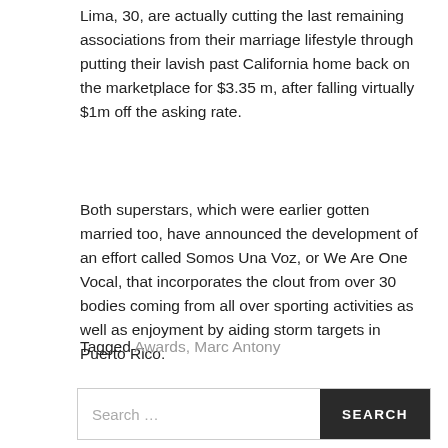Lima, 30, are actually cutting the last remaining associations from their marriage lifestyle through putting their lavish past California home back on the marketplace for $3.35 m, after falling virtually $1m off the asking rate.
Both superstars, which were earlier gotten married too, have announced the development of an effort called Somos Una Voz, or We Are One Vocal, that incorporates the clout from over 30 bodies coming from all over sporting activities as well as enjoyment by aiding storm targets in Puerto Rico.
Tagged Awards, Marc Antony